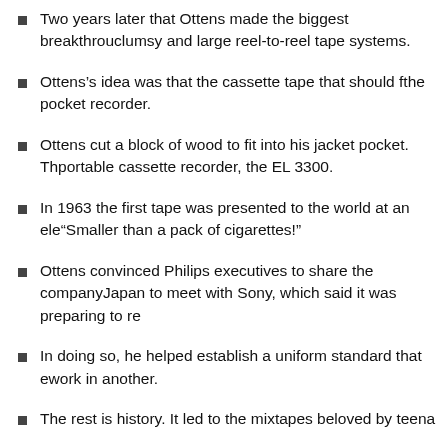Two years later that Ottens made the biggest breakthrough clumsy and large reel-to-reel tape systems.
Ottens’s idea was that the cassette tape that should fit the pocket recorder.
Ottens cut a block of wood to fit into his jacket pocket. Th portable cassette recorder, the EL 3300.
In 1963 the first tape was presented to the world at an ele “Smaller than a pack of cigarettes!”
Ottens convinced Philips executives to share the company Japan to meet with Sony, which said it was preparing to re
In doing so, he helped establish a uniform standard that e work in another.
The rest is history. It led to the mixtapes beloved by teena
In 1972, Ottens became technical director of Philips Main